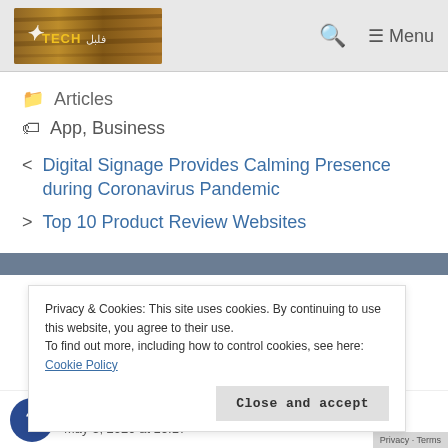Tech [logo] — Menu
Articles
App, Business
< Digital Signage Provides Calming Presence during Coronavirus Pandemic
> Top 10 Product Review Websites
Privacy & Cookies: This site uses cookies. By continuing to use this website, you agree to their use.
To find out more, including how to control cookies, see here:
Cookie Policy
Close and accept
May 3, 2020 at 16:17
Privacy · Terms